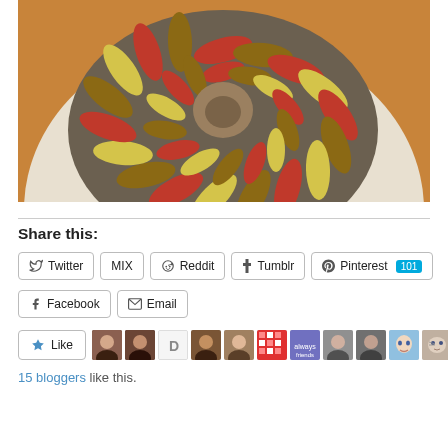[Figure (photo): Overhead photo of ratatouille dish — thinly sliced vegetables (zucchini, yellow squash, eggplant, tomatoes) arranged in overlapping spiral pattern in a round baking dish, cooked and glistening with olive oil and herbs.]
Share this:
Twitter  MIX  Reddit  Tumblr  Pinterest 101  Facebook  Email
Like
15 bloggers like this.